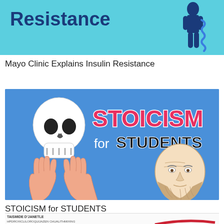[Figure (illustration): Mayo Clinic Insulin Resistance banner with bold blue text 'Resistance' on cyan/teal background with a blue illustrated human figure on the right]
Mayo Clinic Explains Insulin Resistance
[Figure (illustration): Stoicism for Students banner on blue background with a skull floating above two hands, text 'STOICISM for STUDENTS' in pink/white, and an illustrated bearded philosopher head on the right]
STOICISM for STUDENTS
[Figure (illustration): Partially visible bottom banner, appears to show diabetes-related content with text and a red curved shape]